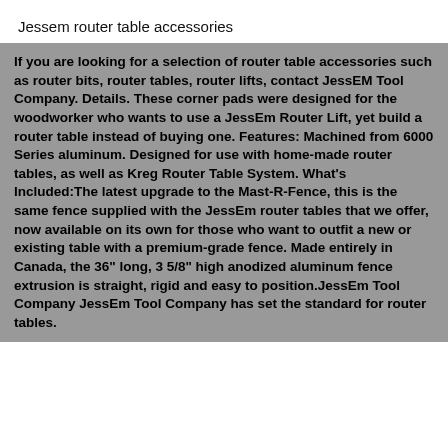Jessem router table accessories
If you are looking for a selection of router table accessories such as router bits, router tables, router lifts, contact JessEM Tool Company. Details. These corner pads were designed for the woodworker who wants to use a JessEm Router Lift, yet build a router table instead of buying one. Features: Machined from 6000 Series aluminum. Designed for use with home-made router tables, as well as Kreg Router Table System. What's Included:The latest upgrade to the Mast-R-Fence, this is the same fence supplied with the JessEm router tables that we offer, now available on its own for those who want to outfit a new or existing table with a premium-grade fence. Made entirely in Canada, the 36" long, 3 5/8" high anodized aluminum fence extrusion is straight, rigid and easy to position.JessEm Tool Company JessEm Tool Company has set the standard for router tables.